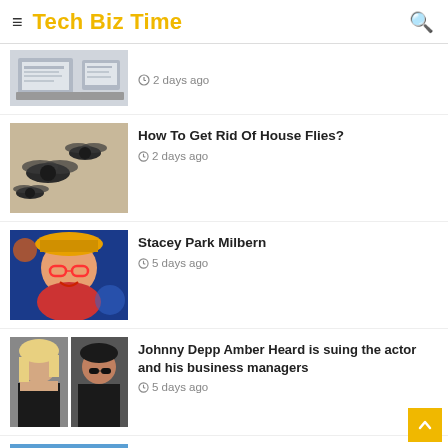Tech Biz Time
2 days ago
How To Get Rid Of House Flies? · 2 days ago
Stacey Park Milbern · 5 days ago
Johnny Depp Amber Heard is suing the actor and his business managers · 5 days ago
How to Shop at trader Joes near me · 5 days ago